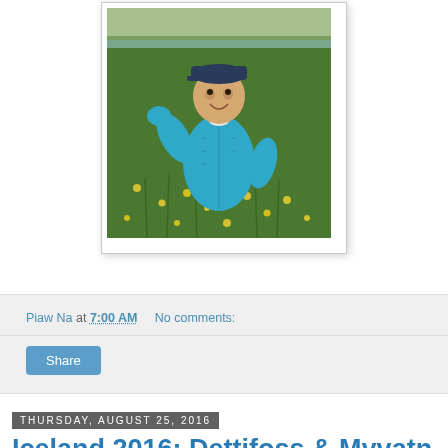[Figure (photo): A toddler wearing a blue puffer jacket and dark cap, standing in a field of yellow wildflowers and green grass, with arm raised, smiling. Background shows water and sky.]
Piaw Na at 7:00 AM    No comments:
Share
Thursday, August 25, 2016
Iceland 2016: Dettifoss & Myvatn